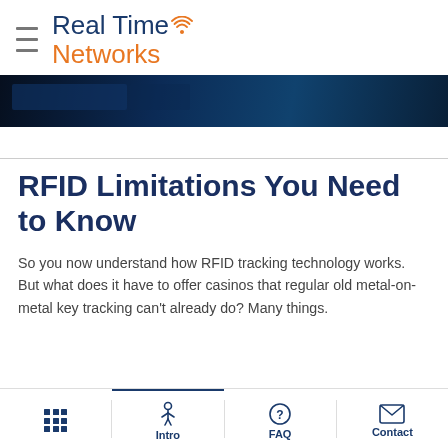Real Time Networks
[Figure (photo): Dark blue hero banner image showing a dimly lit interior, possibly a server room or casino floor]
RFID Limitations You Need to Know
So you now understand how RFID tracking technology works. But what does it have to offer casinos that regular old metal-on-metal key tracking can't already do? Many things.
Intro  FAQ  Contact